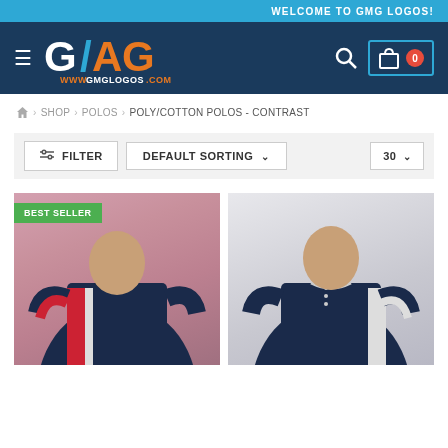WELCOME TO GMG LOGOS!
[Figure (logo): GMG Logos navigation bar with hamburger menu, GMG logo (white and orange G, blue and orange slash, white A, orange G), search icon, and cart with 0 badge]
⌂ > SHOP > POLOS > POLY/COTTON POLOS - CONTRAST
FILTER | DEFAULT SORTING ∨ | 30 ∨
[Figure (photo): Man wearing a navy/red contrast polo shirt against pink background, with BEST SELLER badge]
[Figure (photo): Man wearing a navy/white contrast polo shirt against light grey/white background]